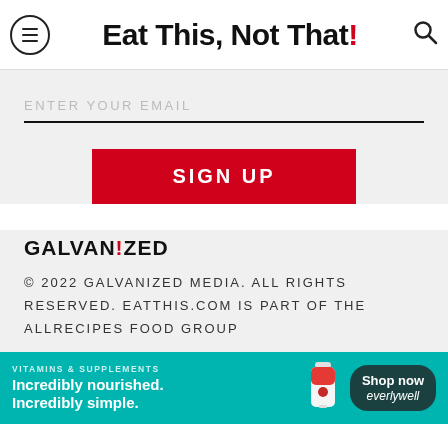Eat This, Not That!
ENTER YOUR EMAIL
SIGN UP
GALVANIZED
© 2022 GALVANIZED MEDIA. ALL RIGHTS RESERVED. EATTHIS.COM IS PART OF THE ALLRECIPES FOOD GROUP
[Figure (infographic): Advertisement banner for vitamins and supplements. Teal background with text: VITAMINS & SUPPLEMENTS, Incredibly nourished. Incredibly simple. Shows a supplement bottle image and a Shop now everlywell button.]